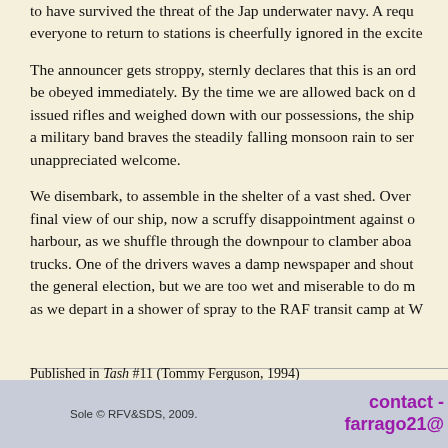to have survived the threat of the Jap underwater navy. A reque everyone to return to stations is cheerfully ignored in the excite
The announcer gets stroppy, sternly declares that this is an orde be obeyed immediately. By the time we are allowed back on de issued rifles and weighed down with our possessions, the ship a military band braves the steadily falling monsoon rain to sere unappreciated welcome.
We disembark, to assemble in the shelter of a vast shed. Over n final view of our ship, now a scruffy disappointment against ot harbour, as we shuffle through the downpour to clamber aboar trucks. One of the drivers waves a damp newspaper and shouts the general election, but we are too wet and miserable to do mo as we depart in a shower of spray to the RAF transit camp at W
Published in Tash #11 (Tommy Ferguson, 1994)
Sole © RFV&SDS, 2009.    contact - farrago21@